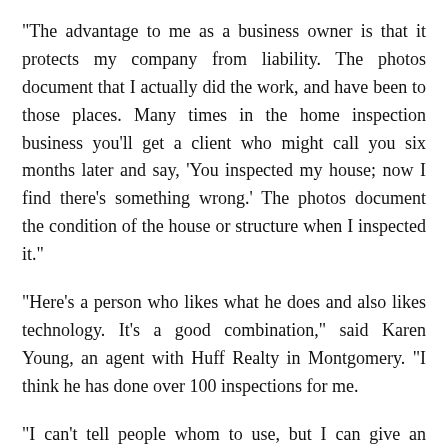“The advantage to me as a business owner is that it protects my company from liability. The photos document that I actually did the work, and have been to those places. Many times in the home inspection business you’ll get a client who might call you six months later and say, ‘You inspected my house; now I find there’s something wrong.’ The photos document the condition of the house or structure when I inspected it.”
“Here’s a person who likes what he does and also likes technology. It’s a good combination,” said Karen Young, an agent with Huff Realty in Montgomery. “I think he has done over 100 inspections for me.
“I can’t tell people whom to use, but I can give an opinion on why I like a particular inspector. What I say to people is, ‘What he gives me that no other inspector gives me is the